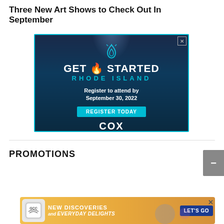Three New Art Shows to Check Out In September
[Figure (infographic): Advertisement banner for Cox Business Get Started Rhode Island event. Dark blue background with cyan border. Text: GET STARTED RHODE ISLAND. Register to attend by September 30, 2022. REGISTER TODAY button. COX BUSINESS logo.]
PROMOTIONS
[Figure (infographic): Bottom advertisement banner with yellow/gold background. GCC logo on left. Text: NEW DISCOVERIES and EVERYDAY DELIGHTS. Blue LET'S GO button on right.]